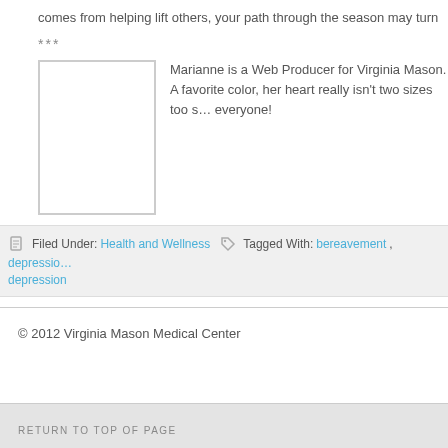comes from helping lift others, your path through the season may turn
***
[Figure (photo): Author photo placeholder — blank white box with grey border]
Marianne is a Web Producer for Virginia Mason. A favorite color, her heart really isn't two sizes too s… everyone!
Filed Under: Health and Wellness   Tagged With: bereavement, depressio… depression
© 2012 Virginia Mason Medical Center
RETURN TO TOP OF PAGE